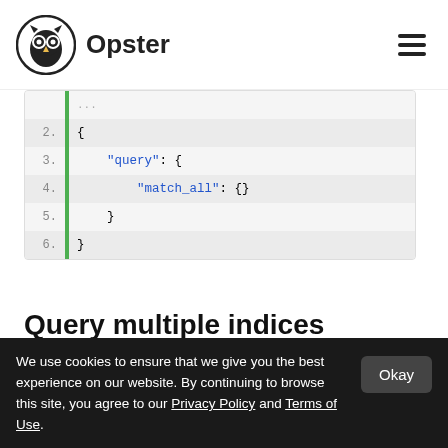Opster
[Figure (screenshot): Code block showing JSON query with line numbers 2-6 and a green left border. Lines: 2: {, 3: "query": {, 4: "match_all": {}, 5: }, 6: }]
Query multiple indices
It is possible to search multiple indices with a single request. If it is a raw HTTP request
We use cookies to ensure that we give you the best experience on our website. By continuing to browse this site, you agree to our Privacy Policy and Terms of Use.